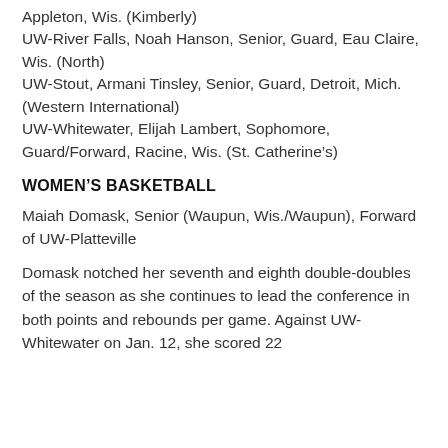Appleton, Wis. (Kimberly)
UW-River Falls, Noah Hanson, Senior, Guard, Eau Claire, Wis. (North)
UW-Stout, Armani Tinsley, Senior, Guard, Detroit, Mich. (Western International)
UW-Whitewater, Elijah Lambert, Sophomore, Guard/Forward, Racine, Wis. (St. Catherine’s)
WOMEN’S BASKETBALL
Maiah Domask, Senior (Waupun, Wis./Waupun), Forward of UW-Platteville
Domask notched her seventh and eighth double-doubles of the season as she continues to lead the conference in both points and rebounds per game. Against UW-Whitewater on Jan. 12, she scored 22